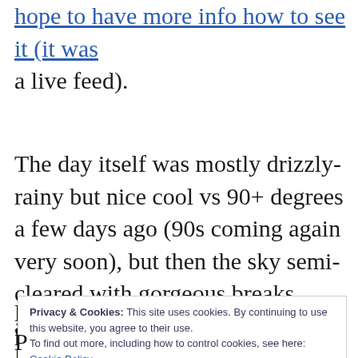[link text cut off] hope to have more info how to see it (it was a live feed).
The day itself was mostly drizzly-rainy but nice cool vs 90+ degrees a few days ago (90s coming again very soon), but then the sky semi-cleared with gorgeous breaks, almost fissures, among the clouds.
Privacy & Cookies: This site uses cookies. By continuing to use this website, you agree to their use.
To find out more, including how to control cookies, see here: Cookie Policy
Close and accept
P... [text cut off at bottom]